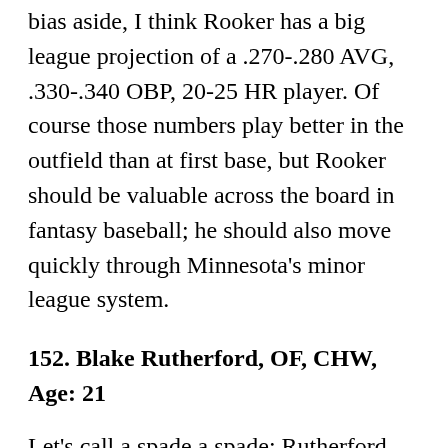bias aside, I think Rooker has a big league projection of a .270-.280 AVG, .330-.340 OBP, 20-25 HR player. Of course those numbers play better in the outfield than at first base, but Rooker should be valuable across the board in fantasy baseball; he should also move quickly through Minnesota's minor league system.
152. Blake Rutherford, OF, CHW, Age: 21
Let's call a spade a spade: Rutherford massively underperformed expectations last season. .260/.326/.348, 2 HRs, 35 RBIs, and 10 SBs doesn't exactly inspire confidence, but don't forget about the mediocre 2016 first-year statistics